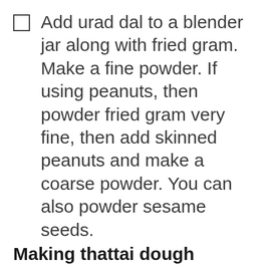Add urad dal to a blender jar along with fried gram. Make a fine powder. If using peanuts, then powder fried gram very fine, then add skinned peanuts and make a coarse powder. You can also powder sesame seeds.
Making thattai dough